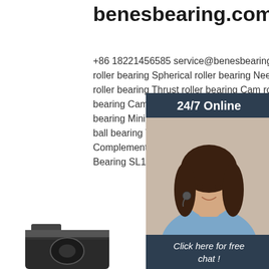benesbearing.com
+86 18221456585 service@benesbearing ... roller bearing Spherical roller bearing Needle roller bearing Thrust roller bearing Cam roller bearing Cam follower bearing Deep groove bearing Miniature ball bearing Angular contact ball bearing Thin section ball ... SL18-5011 Complement Double Row Cylindrical Roller Bearing SL185011. FAG ...
Get Price
[Figure (photo): Customer service chat widget showing a woman with headset, '24/7 Online' header, 'Click here for free chat!' text, and an orange QUOTATION button]
[Figure (photo): Two bearing product images at the bottom of the page - a dark/black bearing on the left and a lighter bearing on the right]